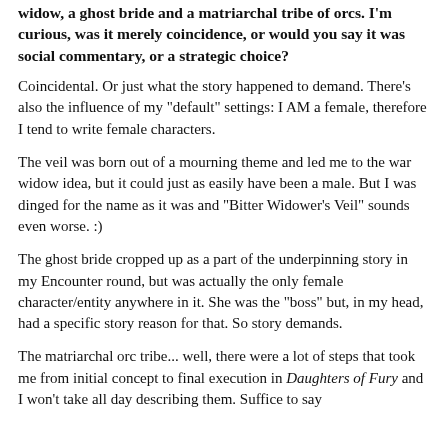widow, a ghost bride and a matriarchal tribe of orcs. I'm curious, was it merely coincidence, or would you say it was social commentary, or a strategic choice?
Coincidental. Or just what the story happened to demand. There's also the influence of my "default" settings: I AM a female, therefore I tend to write female characters.
The veil was born out of a mourning theme and led me to the war widow idea, but it could just as easily have been a male. But I was dinged for the name as it was and "Bitter Widower's Veil" sounds even worse. :)
The ghost bride cropped up as a part of the underpinning story in my Encounter round, but was actually the only female character/entity anywhere in it. She was the "boss" but, in my head, had a specific story reason for that. So story demands.
The matriarchal orc tribe... well, there were a lot of steps that took me from initial concept to final execution in Daughters of Fury and I won't take all day describing them. Suffice to say